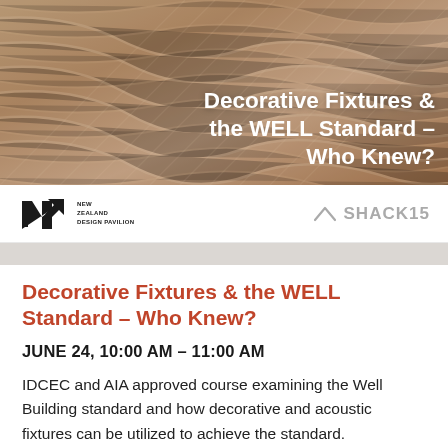[Figure (photo): Close-up photograph of woven basket or textile material in warm beige/tan tones with the overlay text 'Decorative Fixtures & the WELL Standard – Who Knew?' in white bold font on the right side]
[Figure (logo): New Zealand Design Pavilion logo (NZ arrow mark) on the left and SHACK15 logo with chevron on the right]
Decorative Fixtures & the WELL Standard – Who Knew?
JUNE 24, 10:00 AM – 11:00 AM
IDCEC and AIA approved course examining the Well Building standard and how decorative and acoustic fixtures can be utilized to achieve the standard.